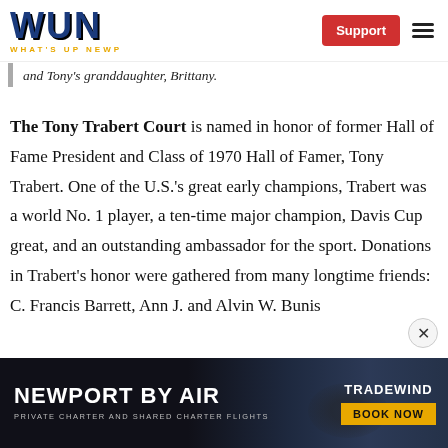WUN WHAT'S UP NEWP | Support
and Tony's granddaughter, Brittany.
The Tony Trabert Court is named in honor of former Hall of Fame President and Class of 1970 Hall of Famer, Tony Trabert. One of the U.S.'s great early champions, Trabert was a world No. 1 player, a ten-time major champion, Davis Cup great, and an outstanding ambassador for the sport. Donations in Trabert's honor were gathered from many longtime friends: C. Francis Barrett, Ann J. and Alvin W. Bunis
[Figure (screenshot): Advertisement banner for Newport By Air – Private Charter and Shared Charter Flights, with Tradewind branding and Book Now button]